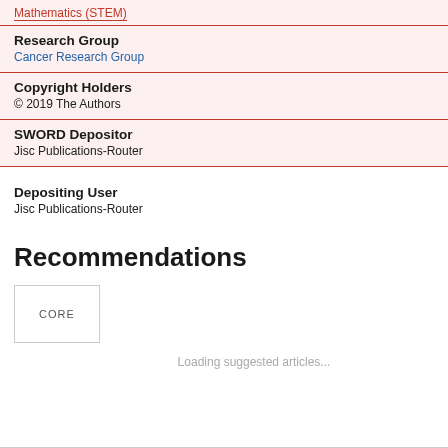Mathematics (STEM)
Research Group
Cancer Research Group
Copyright Holders
© 2019 The Authors
SWORD Depositor
Jisc Publications-Router
Depositing User
Jisc Publications-Router
Recommendations
CORE
Loading suggested articles...